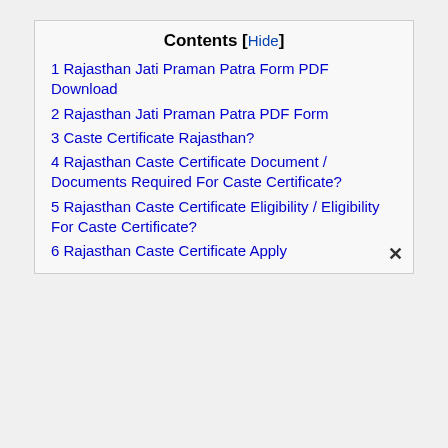Contents [Hide]
1 Rajasthan Jati Praman Patra Form PDF Download
2 Rajasthan Jati Praman Patra PDF Form
3 Caste Certificate Rajasthan?
4 Rajasthan Caste Certificate Document / Documents Required For Caste Certificate?
5 Rajasthan Caste Certificate Eligibility / Eligibility For Caste Certificate?
6 Rajasthan Caste Certificate Apply